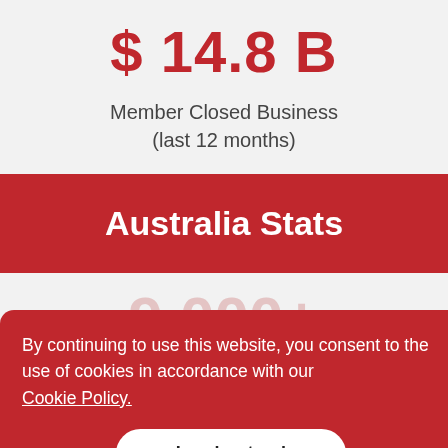$ 14.8 B
Member Closed Business (last 12 months)
Australia Stats
9,000+ Members
By continuing to use this website, you consent to the use of cookies in accordance with our Cookie Policy.
I understand